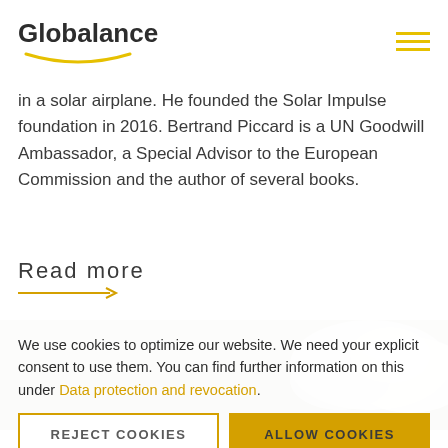Globalance
in a solar airplane. He founded the Solar Impulse foundation in 2016. Bertrand Piccard is a UN Goodwill Ambassador, a Special Advisor to the European Commission and the author of several books.
Read more
[Figure (photo): Aerial or landscape photo showing grey terrain with white clouds or snow.]
We use cookies to optimize our website. We need your explicit consent to use them. You can find further information on this under Data protection and revocation.
REJECT COOKIES
ALLOW COOKIES